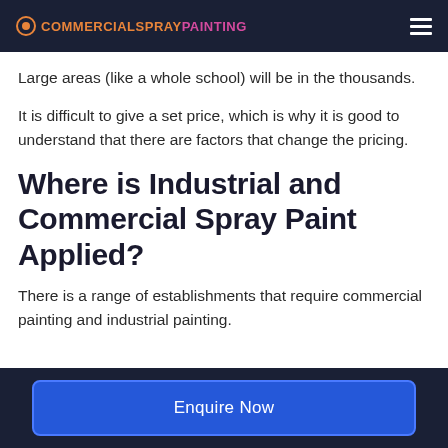COMMERCIALSPRAYPAINTING
Large areas (like a whole school) will be in the thousands.
It is difficult to give a set price, which is why it is good to understand that there are factors that change the pricing.
Where is Industrial and Commercial Spray Paint Applied?
There is a range of establishments that require commercial painting and industrial painting.
Enquire Now